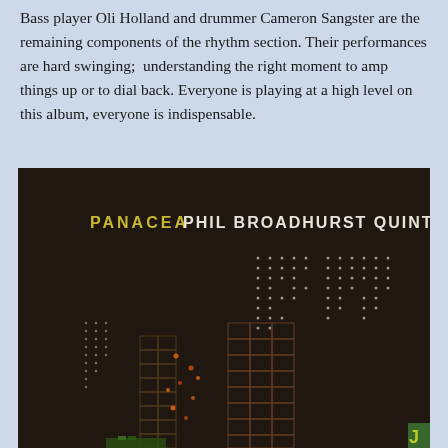Bass player Oli Holland and drummer Cameron Sangster are the remaining components of the rhythm section. Their performances are hard swinging; understanding the right moment to amp things up or to dial back. Everyone is playing at a high level on this album, everyone is indispensable.
[Figure (photo): Album cover of 'Panacea' by Phil Broadhurst Quintet. Dark background with the album title in yellow-green and white text at the top. Abstract dot patterns and illuminated grid/building structures in the lower portion of the image.]